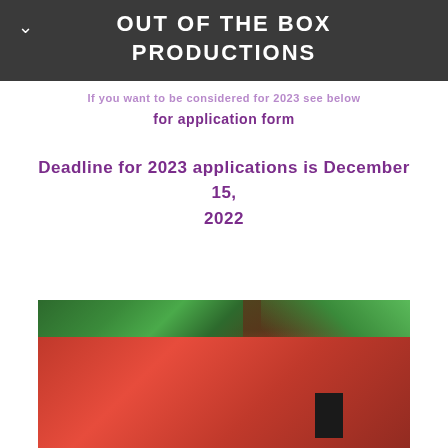OUT OF THE BOX PRODUCTIONS
If you want to be considered for 2023 see below for application form
Deadline for 2023 applications is December 15, 2022
[Figure (photo): Exterior photo of a red angular building structure surrounded by green trees]